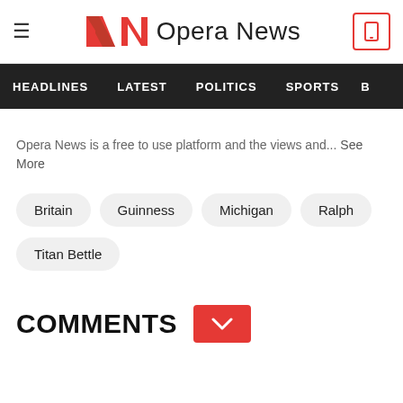Opera News
HEADLINES  LATEST  POLITICS  SPORTS  B
Opera News is a free to use platform and the views and... See More
Britain
Guinness
Michigan
Ralph
Titan Bettle
COMMENTS